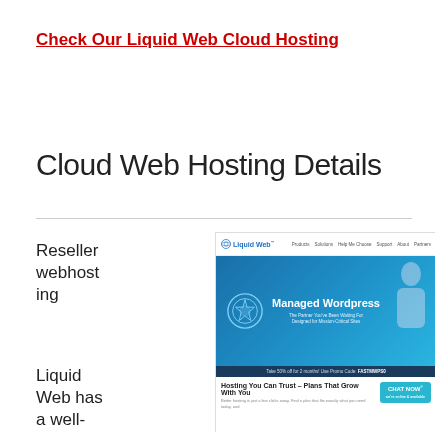Check Our Liquid Web Cloud Hosting
Cloud Web Hosting Details
Reseller webhosting
[Figure (screenshot): Screenshot of the Liquid Web website homepage showing the Liquid Web logo and navigation bar with links to Products, Solutions, Help Me Choose, Support, About, Partners. A blue banner features a badge and text 'Managed Wordpress – The Partner You've Been Waiting For Designed for Mission-Critical Sites'. A dark promo bar reads 'Take 50% off for 2 months! Use Promo Code: FASTMWPS0'. Below is 'Hosting You Can Trust – Plans That Grow With You' with a CHAT NOW button.]
Liquid Web has a well-